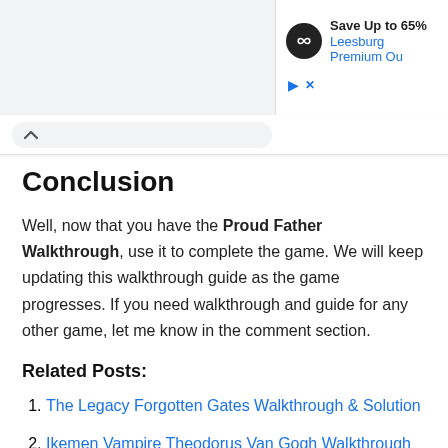[Figure (other): Advertisement banner showing a black circular icon with an infinity-like symbol, text 'Save Up to 65%' in bold, 'Leesburg Premium Ou' in blue, with play and close controls below]
Conclusion
Well, now that you have the Proud Father Walkthrough, use it to complete the game. We will keep updating this walkthrough guide as the game progresses. If you need walkthrough and guide for any other game, let me know in the comment section.
Related Posts:
The Legacy Forgotten Gates Walkthrough & Solution
Ikemen Vampire Theodorus Van Gogh Walkthrough